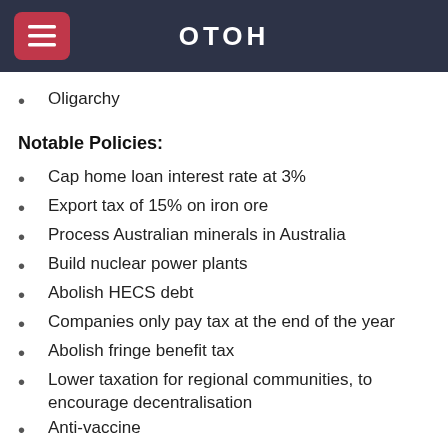OTOH
Oligarchy
Notable Policies:
Cap home loan interest rate at 3%
Export tax of 15% on iron ore
Process Australian minerals in Australia
Build nuclear power plants
Abolish HECS debt
Companies only pay tax at the end of the year
Abolish fringe benefit tax
Lower taxation for regional communities, to encourage decentralisation
Anti-vaccine
Encourage pseudo-scientific unproven treatments
Limit ability of lobbyists to be involved in political parties
Be a reliable ally to the USA and purchase their military